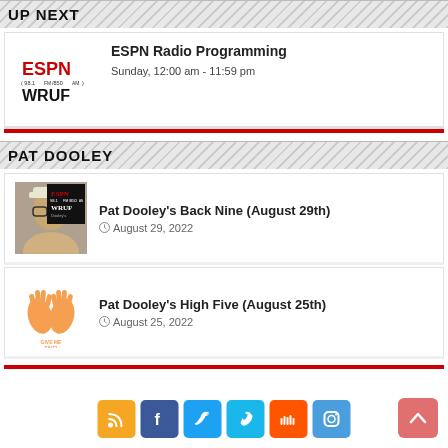UP NEXT
[Figure (logo): ESPN WRUF 98.1FM/850AM radio logo]
ESPN Radio Programming
Sunday, 12:00 am - 11:59 pm
PAT DOOLEY
[Figure (photo): Pat Dooley photo with ESPN WRUF Back Nine overlay]
Pat Dooley's Back Nine (August 29th)
August 29, 2022
[Figure (illustration): High five hands illustration with GIVE ME FIVE text]
Pat Dooley's High Five (August 25th)
August 25, 2022
[Figure (infographic): Social media icons: RSS, Facebook, Twitter, Vimeo, SoundCloud, Instagram]